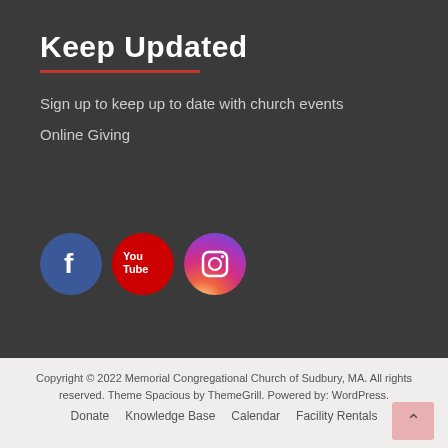Keep Updated
Sign up to keep up to date with church events
Online Giving
[Figure (illustration): Three social media icon buttons: Facebook (blue circle with F), YouTube (red circle with YouTube logo), Instagram (gradient circle with camera icon)]
Copyright © 2022 Memorial Congregational Church of Sudbury, MA. All rights reserved. Theme Spacious by ThemeGrill. Powered by: WordPress. Donate  Knowledge Base  Calendar  Facility Rentals